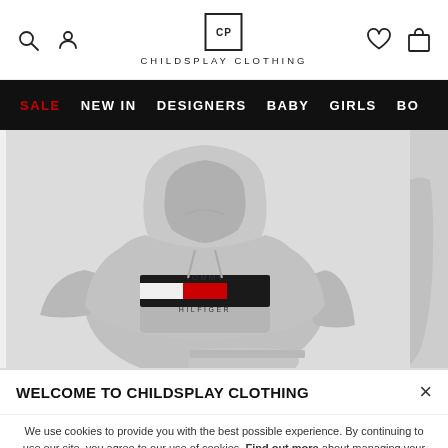CHILDSPLAY CLOTHING — site header with search, account, wishlist, cart icons
SALE  NEW IN  DESIGNERS  BABY  GIRLS  BO...
[Figure (photo): Tommy Hilfiger grey hoodie and matching grey joggers/pants laid flat on a light grey background, showing the Tommy Hilfiger logo with the signature red/white/navy flag stripe across the chest. A partial second item visible on the right edge.]
WELCOME TO CHILDSPLAY CLOTHING
We use cookies to provide you with the best possible experience. By continuing to use our site, you agree to our use of cookies. Find out more about managing your cookie settings.